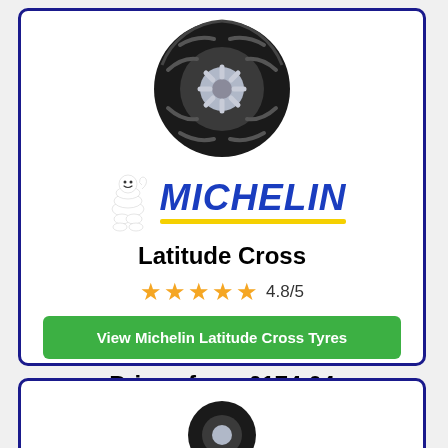[Figure (photo): Michelin Latitude Cross tyre product image - black tyre with distinctive tread pattern]
[Figure (logo): Michelin logo with Michelin Man (Bibendum) mascot and MICHELIN wordmark in blue italic text with yellow underline bar]
Latitude Cross
★★★★★ 4.8/5
View Michelin Latitude Cross Tyres
Prices from £174.64
[Figure (photo): Partial view of a second tyre product image at the bottom of the page]